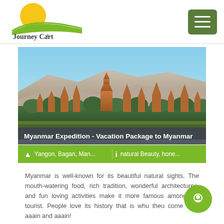[Figure (logo): Journey Cart Holidays logo with yellow sun circle and green arc, company name in serif font]
[Figure (photo): Panoramic photo of Myanmar Bagan temples and pagodas with mountains in the background under a blue sky]
Myanmar Expedition - Vacation Package to Myanmar
Yangon, Bagan, Man...   natural Beauty, hone...
Myanmar is well-known for its beautiful natural sights. The mouth-watering food, rich tradition, wonderful architectures, and fun loving activities make it more famous among the tourist. People love its history that is why they come here again and again!